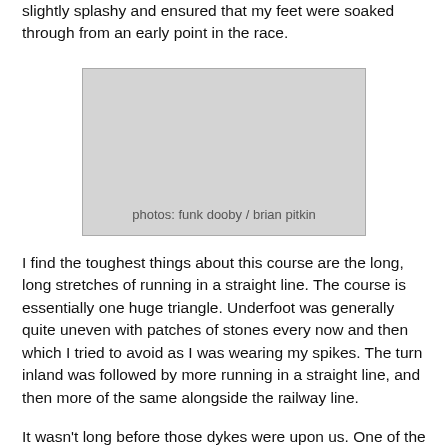slightly splashy and ensured that my feet were soaked through from an early point in the race.
[Figure (photo): Placeholder photo box with caption: photos: funk dooby / brian pitkin]
photos: funk dooby / brian pitkin
I find the toughest things about this course are the long, long stretches of running in a straight line. The course is essentially one huge triangle. Underfoot was generally quite uneven with patches of stones every now and then which I tried to avoid as I was wearing my spikes. The turn inland was followed by more running in a straight line, and then more of the same alongside the railway line.
It wasn't long before those dykes were upon us. One of the